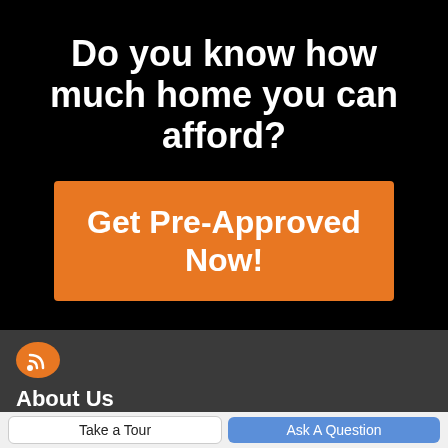Do you know how much home you can afford?
Get Pre-Approved Now!
About Us
Take a Tour
Ask A Question